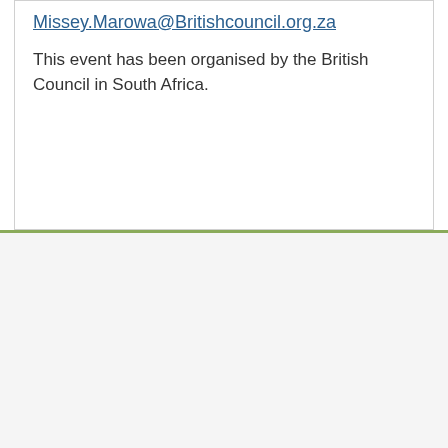Missey.Marowa@Britishcouncil.org.za
This event has been organised by the British Council in South Africa.
1. We use cookies on our website to give you the most relevant experience by remembering your preferences and repeat visits. By clicking “Accept”, you consent to the use of ALL the cookies. 2. This website is not optimized for Internet Explorer users.
Cookie settings
ACCEPT